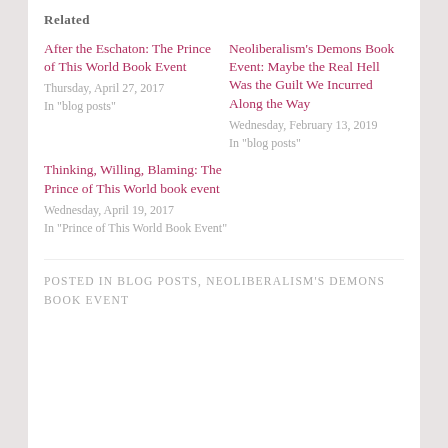Related
After the Eschaton: The Prince of This World Book Event
Thursday, April 27, 2017
In "blog posts"
Neoliberalism's Demons Book Event: Maybe the Real Hell Was the Guilt We Incurred Along the Way
Wednesday, February 13, 2019
In "blog posts"
Thinking, Willing, Blaming: The Prince of This World book event
Wednesday, April 19, 2017
In "Prince of This World Book Event"
POSTED IN BLOG POSTS, NEOLIBERALISM'S DEMONS BOOK EVENT